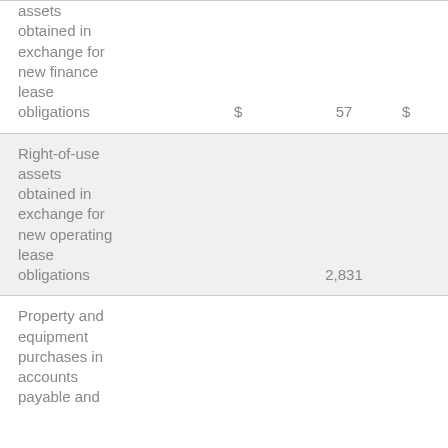|  |  |  | $ |
| --- | --- | --- | --- |
| assets obtained in exchange for new finance lease obligations | $ | 57 | $ |
| Right-of-use assets obtained in exchange for new operating lease obligations |  | 2,831 |  |
| Property and equipment purchases in accounts payable and |  |  |  |